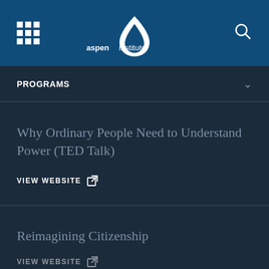[Figure (logo): Aspen Institute logo with leaf drop icon and 'aspeninstitute' text in white on dark blue header bar, with grid menu icon on left and search icon on right]
PROGRAMS
Why Ordinary People Need to Understand Power (TED Talk)
VIEW WEBSITE ↗
Reimagining Citizenship
VIEW WEBSITE ↗